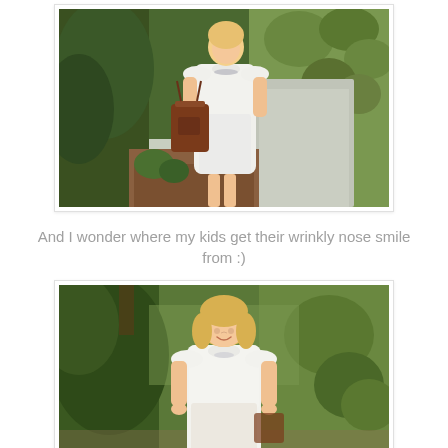[Figure (photo): Blonde woman in white dress and top carrying a brown leather tote bag, standing on a garden path with green shrubs and trees in the background.]
And I wonder where my kids get their wrinkly nose smile from :)
[Figure (photo): Blonde woman in white top smiling with a wrinkly nose smile, standing in a garden with green trees and shrubs in the background.]